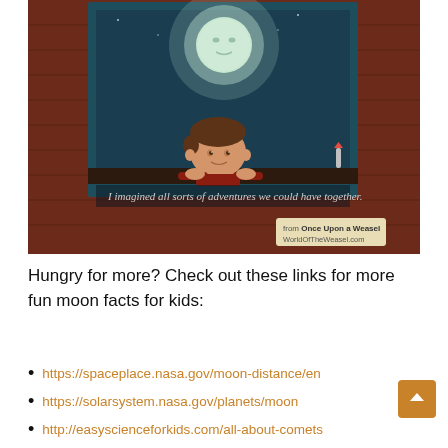[Figure (illustration): Cartoon illustration of a boy in a red shirt leaning on a windowsill at night, looking up at an anthropomorphic glowing moon in a dark blue sky. The background shows a brick wall exterior. Text on the image reads 'I imagined all sorts of adventures we could have together.' with a label 'from Once Upon a Weasel / WorldOfTheWeasel.com'.]
Hungry for more? Check out these links for more fun moon facts for kids:
https://spaceplace.nasa.gov/moon-distance/en
https://solarsystem.nasa.gov/planets/moon
http://easyscienceforkids.com/all-about-comets